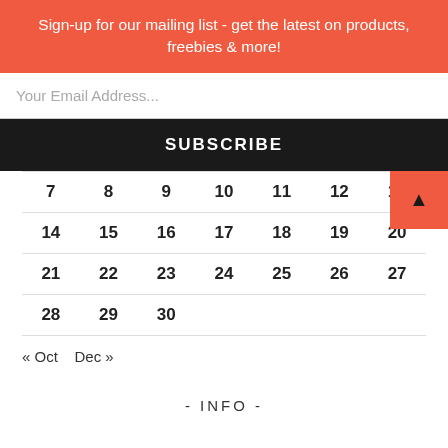Sign-up for our mailing list - get the latest on products, freebies & more!
Your Email Address...
SUBSCRIBE
| 7 | 8 | 9 | 10 | 11 | 12 | 13 |
| 14 | 15 | 16 | 17 | 18 | 19 | 20 |
| 21 | 22 | 23 | 24 | 25 | 26 | 27 |
| 28 | 29 | 30 |  |  |  |  |
« Oct   Dec »
- INFO -